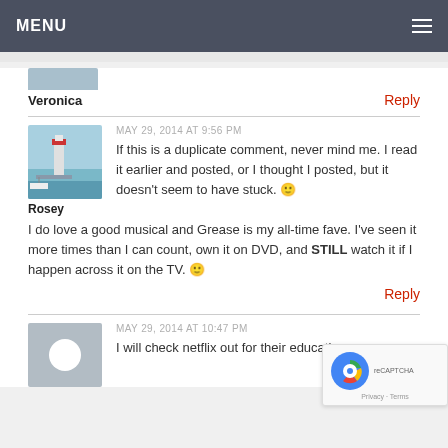MENU
Veronica
Reply
MAY 29, 2014 AT 9:56 PM
[Figure (photo): Lighthouse and marina photo used as avatar for user Rosey]
Rosey
If this is a duplicate comment, never mind me. I read it earlier and posted, or I thought I posted, but it doesn't seem to have stuck. 🙂 I do love a good musical and Grease is my all-time fave. I've seen it more times than I can count, own it on DVD, and STILL watch it if I happen across it on the TV. 🙂
Reply
MAY 29, 2014 AT 10:47 PM
I will check netflix out for their education